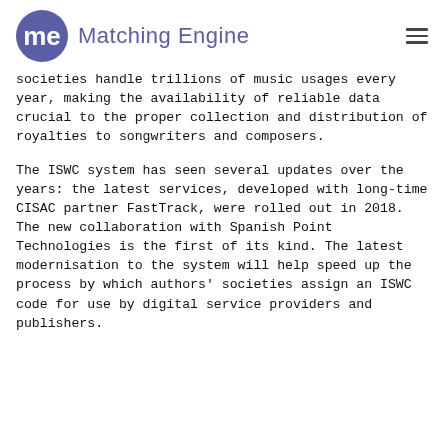Matching Engine
societies handle trillions of music usages every year, making the availability of reliable data crucial to the proper collection and distribution of royalties to songwriters and composers.
The ISWC system has seen several updates over the years: the latest services, developed with long-time CISAC partner FastTrack, were rolled out in 2018. The new collaboration with Spanish Point Technologies is the first of its kind. The latest modernisation to the system will help speed up the process by which authors' societies assign an ISWC code for use by digital service providers and publishers.